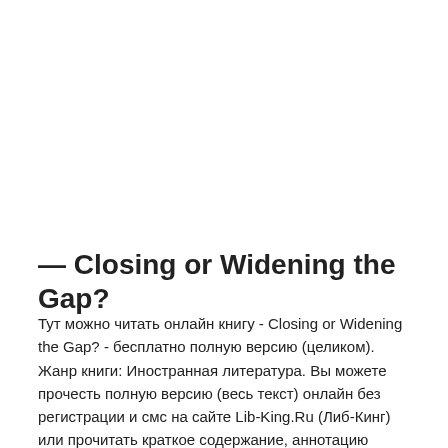— Closing or Widening the Gap?
Тут можно читать онлайн книгу - Closing or Widening the Gap? - бесплатно полную версию (целиком). Жанр книги: Иностранная литература. Вы можете прочесть полную версию (весь текст) онлайн без регистрации и смс на сайте Lib-King.Ru (Либ-Кинг) или прочитать краткое содержание, аннотацию (предисловие), описание и ознакомиться с отзывами (комментариями) о